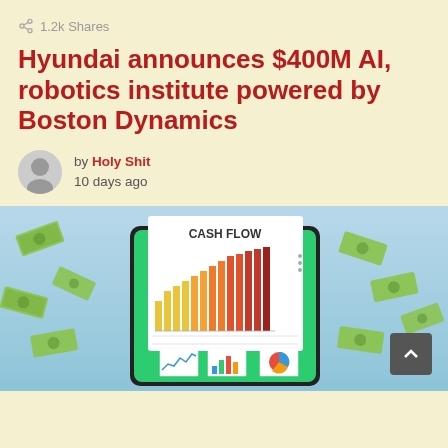1.2k Shares
Hyundai announces $400M AI, robotics institute powered by Boston Dynamics
by Holy Shit
10 days ago
[Figure (illustration): Illustration of a cash flow report on a tablet/phone screen surrounded by flying dollar bills on a light blue background. The report shows a bar chart labeled 'CASH FLOW' with colorful bars, and smaller charts below including a line chart and pie chart.]